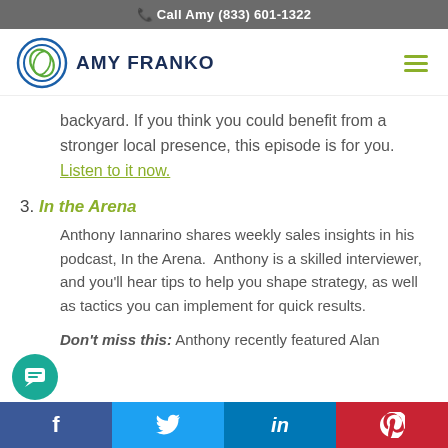Call Amy (833) 601-1322
[Figure (logo): Amy Franko logo with circular icon and text AMY FRANKO]
backyard. If you think you could benefit from a stronger local presence, this episode is for you. Listen to it now.
3. In the Arena
Anthony Iannarino shares weekly sales insights in his podcast, In the Arena.  Anthony is a skilled interviewer, and you'll hear tips to help you shape strategy, as well as tactics you can implement for quick results.
Don't miss this: Anthony recently featured Alan
f  t  in  p (social share bar)